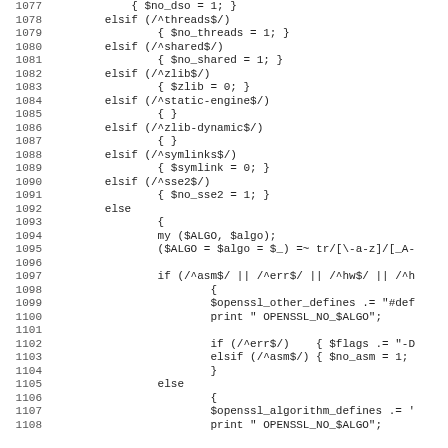[Figure (other): Source code listing (Perl/shell script) showing lines 1077-1108, with line numbers on the left and code on the right. The code contains elsif/else branches checking for flags like threads, shared, zlib, static-engine, zlib-dynamic, symlinks, sse2, and a general else clause handling algorithm defines.]